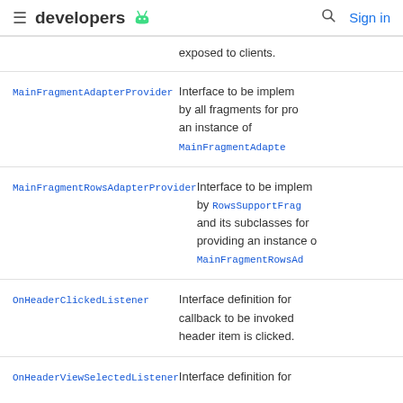developers [android logo] | Search | Sign in
exposed to clients.
| Interface | Description |
| --- | --- |
| MainFragmentAdapterProvider | Interface to be implemented by all fragments for providing an instance of MainFragmentAdapt… |
| MainFragmentRowsAdapterProvider | Interface to be implemented by RowsSupportFrag… and its subclasses for providing an instance of MainFragmentRowsA… |
| OnHeaderClickedListener | Interface definition for a callback to be invoked when a header item is clicked. |
| OnHeaderViewSelectedListener | Interface definition for a… |